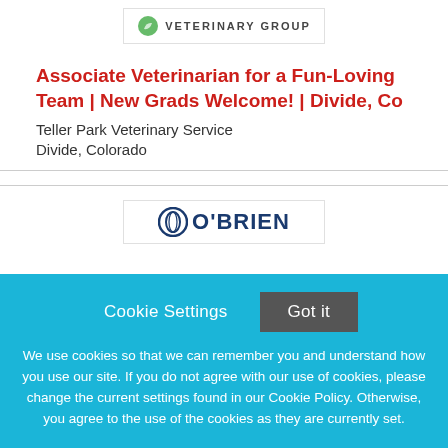[Figure (logo): Veterinary Group logo with leaf/paw icon and text 'VETERINARY GROUP']
Associate Veterinarian for a Fun-Loving Team | New Grads Welcome! | Divide, Co
Teller Park Veterinary Service
Divide, Colorado
[Figure (logo): O'Brien logo with circular icon and bold text 'O'BRIEN']
Cookie Settings   Got it

We use cookies so that we can remember you and understand how you use our site. If you do not agree with our use of cookies, please change the current settings found in our Cookie Policy. Otherwise, you agree to the use of the cookies as they are currently set.